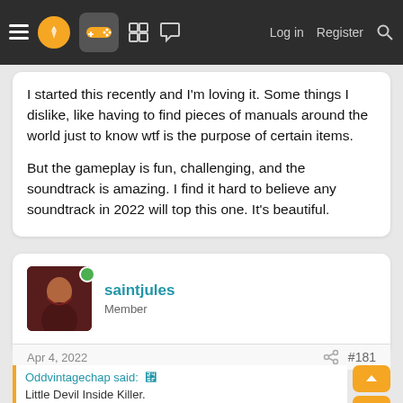Navigation bar with hamburger, logo, controller icon, grid icon, chat icon, Log in, Register, Search
I started this recently and I'm loving it. Some things I dislike, like having to find pieces of manuals around the world just to know wtf is the purpose of certain items.

But the gameplay is fun, challenging, and the soundtrack is amazing. I find it hard to believe any soundtrack in 2022 will top this one. It's beautiful.
saintjules
Member
Apr 4, 2022   #181
Oddvintagechap said:
Little Devil Inside Killer.